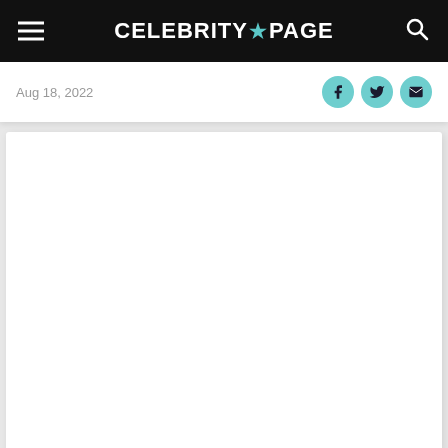CELEBRITY★PAGE
Aug 18, 2022
[Figure (screenshot): Empty white content card area below the date strip, part of Celebrity Page article layout]